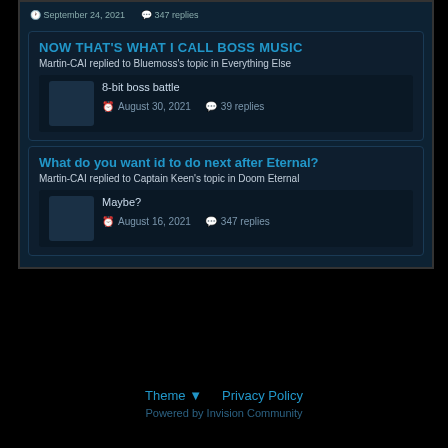September 24, 2021  347 replies
NOW THAT'S WHAT I CALL BOSS MUSIC
Martin-CAI replied to Bluemoss's topic in Everything Else
8-bit boss battle
August 30, 2021  39 replies
What do you want id to do next after Eternal?
Martin-CAI replied to Captain Keen's topic in Doom Eternal
Maybe?
August 16, 2021  347 replies
Theme ▾  Privacy Policy  Powered by Invision Community